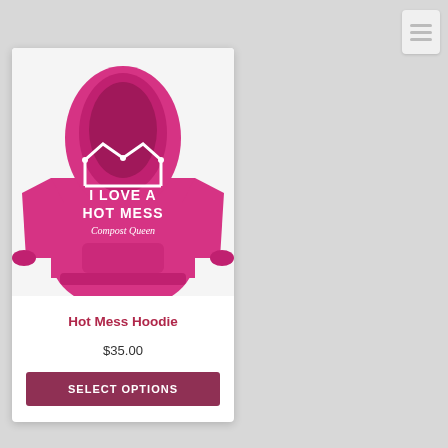[Figure (photo): Pink/magenta hoodie shown from the back, with a white crown graphic and text: I LOVE A HOT MESS Compost Queen]
Hot Mess Hoodie
$35.00
SELECT OPTIONS